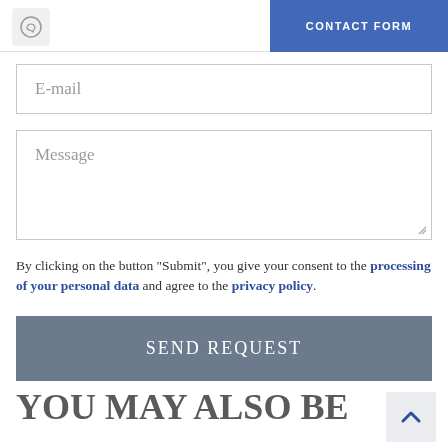CONTACT FORM
E-mail
Message
By clicking on the button "Submit", you give your consent to the processing of your personal data and agree to the privacy policy.
SEND REQUEST
YOU MAY ALSO BE INTERESTED